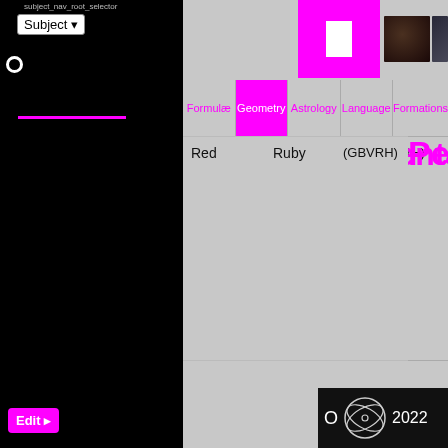subject_nav_root_selector
Subject ▾
Formulæ
Geometry
Astrology
Language
Formations
Red
Ruby
(GBVRH)
Pentag
Gold
Topaz
תפארת
(ThPARTh)
Hexag
O  2022